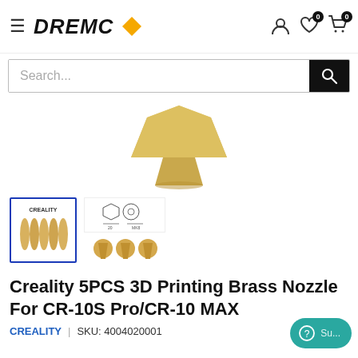DREMC
[Figure (screenshot): DREMC e-commerce website header with logo, hamburger menu, user/wishlist/cart icons]
[Figure (photo): Brass 3D printer nozzle product main image showing gold-colored nozzle from top angle]
[Figure (photo): Thumbnail images of Creality brass nozzle product - selected thumbnail showing 5 nozzles, second thumbnail showing technical diagram and three nozzles]
Creality 5PCS 3D Printing Brass Nozzle For CR-10S Pro/CR-10 MAX
CREALITY  |  SKU: 4004020001